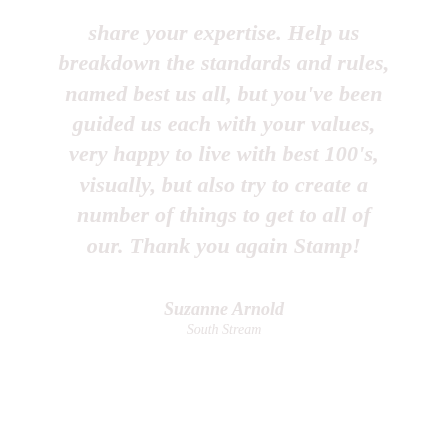share your expertise. Help us breakdown the standards and rules, named best us all, but you've been guided us each with your values, very happy to live with best 100's, visually, but also try to create a number of things to get to all of our. Thank you again Stamp!
Suzanne Arnold
South Stream